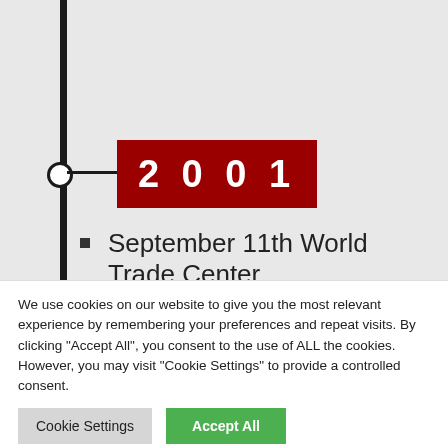[Figure (infographic): Timeline graphic showing a vertical black line with a white circle marker connected by a horizontal line to a dark red rectangle labeled '2001' in white bold text. Background is light gray.]
September 11th World Trade Center and Pentagon attacks
We use cookies on our website to give you the most relevant experience by remembering your preferences and repeat visits. By clicking “Accept All”, you consent to the use of ALL the cookies. However, you may visit "Cookie Settings" to provide a controlled consent.